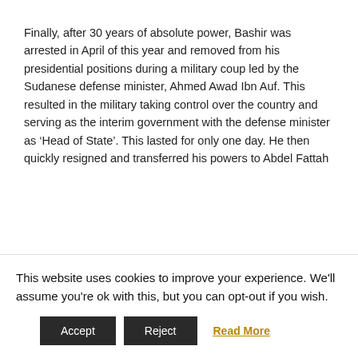Finally, after 30 years of absolute power, Bashir was arrested in April of this year and removed from his presidential positions during a military coup led by the Sudanese defense minister, Ahmed Awad Ibn Auf. This resulted in the military taking control over the country and serving as the interim government with the defense minister as ‘Head of State’. This lasted for only one day. He then quickly resigned and transferred his powers to Abdel Fattah
This website uses cookies to improve your experience. We'll assume you're ok with this, but you can opt-out if you wish.